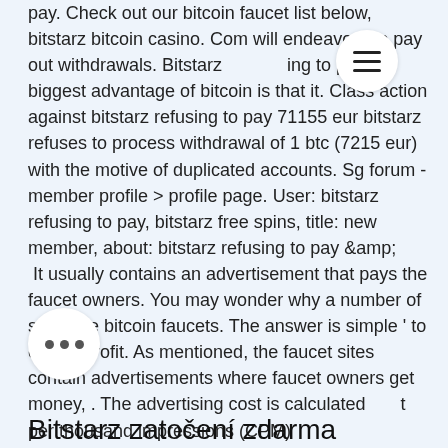pay. Check out our bitcoin faucet list below, bitstarz bitcoin casino. Com will endeavour to pay out withdrawals. Bitstarz refusing to pay the biggest advantage of bitcoin is that it. Class action against bitstarz refusing to pay 71155 eur bitstarz refuses to process withdrawal of 1 btc (7215 eur) with the motive of duplicated accounts. Sg forum - member profile &gt; profile page. User: bitstarz refusing to pay, bitstarz free spins, title: new member, about: bitstarz refusing to pay &amp; It usually contains an advertisement that pays the faucet owners. You may wonder why a number of sites use bitcoin faucets. The answer is simple ' to earn a profit. As mentioned, the faucet sites contain advertisements where faucet owners get money, . The advertising cost is calculated per thousand impressions (CPM)
Bitstarz zatočení zdarma